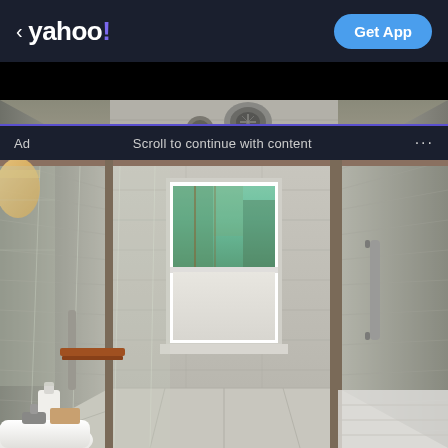< yahoo! Get App
Ad   Scroll to continue with content   ...
[Figure (photo): Interior photo of a modern bathroom showing a walk-in shower with glass sliding doors, grey striped tile walls and floor, a window with white blinds looking onto greenery, exhaust fan mounted on wall, chrome grab bars and fixtures, and a white pedestal sink in the foreground left corner with soap dispenser and faucet.]